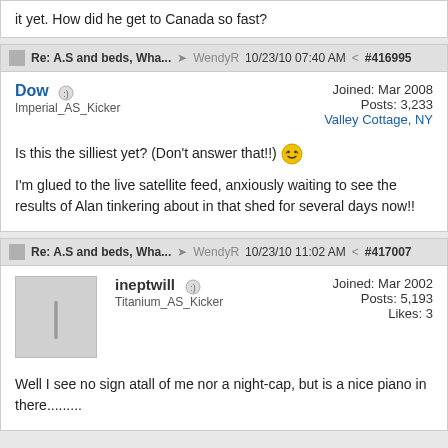it yet. How did he get to Canada so fast?
Re: A.S and beds, Wha... → WendyR 10/23/10 07:40 AM < #416995
Dow
Imperial_AS_Kicker
Joined: Mar 2008
Posts: 3,233
Valley Cottage, NY
Is this the silliest yet? (Don't answer that!!) 😁

I'm glued to the live satellite feed, anxiously waiting to see the results of Alan tinkering about in that shed for several days now!!
Re: A.S and beds, Wha... → WendyR 10/23/10 11:02 AM < #417007
ineptwill
Titanium_AS_Kicker
Joined: Mar 2002
Posts: 5,193
Likes: 3
Well I see no sign atall of me nor a night-cap, but is a nice piano in there.........